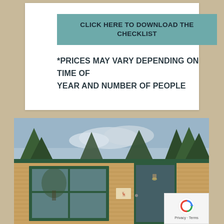CLICK HERE TO DOWNLOAD THE CHECKLIST
*PRICES MAY VARY DEPENDING ON TIME OF YEAR AND NUMBER OF PEOPLE
[Figure (photo): Exterior photo of a log cabin / small building with tan/yellow siding, green window and door trim, a large window on the left, a glass/screen door on the right, pine trees visible in background above roofline, and a small elk or deer artwork mounted between the window and door.]